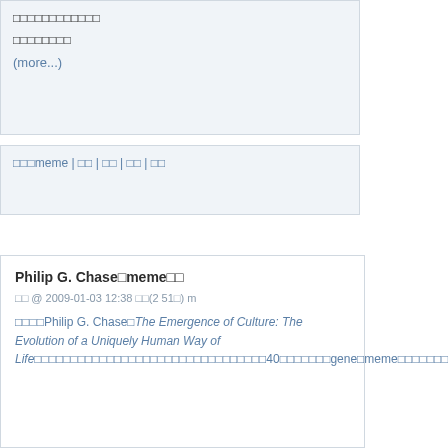□□□□□□□□□□□□ □□□□□□□□ (more...)
□□□meme | □□ | □□ | □□ | □□
Philip G. Chase□meme□□
□□ @ 2009-01-03 12:38 □□(2 51□) m
□□□□Philip G. Chase□The Emergence of Culture: The Evolution of a Uniquely Human Way of Life□□□□□□□□□□□□□□□□□□□□□□□□□□□□□□□40□□□□□□□gene□meme□□□□□□□□□□